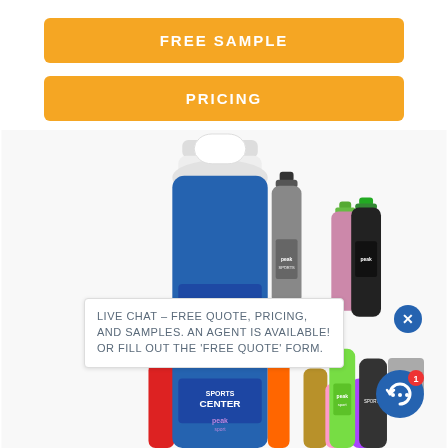FREE SAMPLE
PRICING
[Figure (photo): Multiple branded sports water bottles in various colors (gray, black, blue, white, pink, green, orange, red, gold, purple) arranged in a group product shot]
LIVE CHAT – FREE QUOTE, PRICING, AND SAMPLES. AN AGENT IS AVAILABLE! OR FILL OUT THE 'FREE QUOTE' FORM.